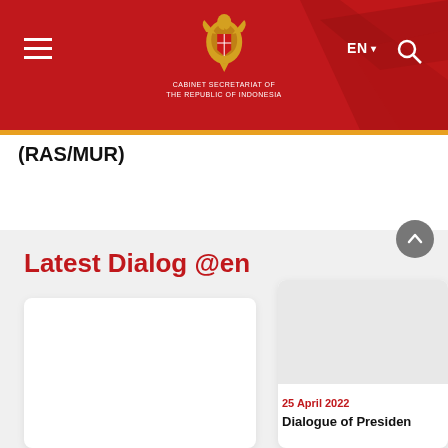[Figure (screenshot): Cabinet Secretariat of the Republic of Indonesia website header with red background, Garuda emblem logo, hamburger menu, EN language selector, and search icon]
(RAS/MUR)
Latest Dialog @en
[Figure (screenshot): White card placeholder, left side, blank content area]
[Figure (screenshot): White card on right side with date 25 April 2022 and title 'Dialogue of Presiden']